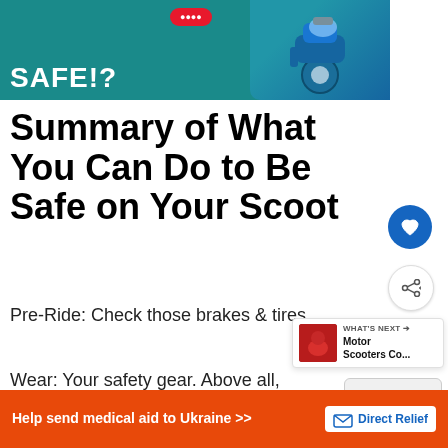[Figure (photo): Banner image with teal background showing 'SAFE!?' text in white bold font and a blue scooter/motorcycle photo on the right, with a red pill-shaped badge]
Summary of What You Can Do to Be Safe on Your Scoot
Pre-Ride: Check those brakes & tires
Wear: Your safety gear. Above all, helmet! Preferably full-face and definit
[Figure (other): WHAT'S NEXT arrow callout showing Motor Scooters Co... thumbnail]
[Figure (other): reCAPTCHA widget partial]
[Figure (other): Help send medical aid to Ukraine - Direct Relief advertisement banner in orange]